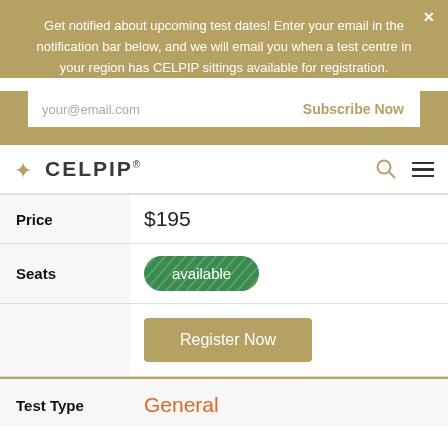Get notified about upcoming test dates! Enter your email in the notification bar below, and we will email you when a test centre in your region has CELPIP sittings available for registration.
[Figure (screenshot): Email subscription input field with placeholder 'your@email.com' and a 'Subscribe Now' button]
[Figure (logo): CELPIP logo with gold leaf icon and bold text, with search and hamburger menu icons]
| Field | Value |
| --- | --- |
| Price | $195 |
| Seats | available |
|  | Register Now |
| Test Type | General |